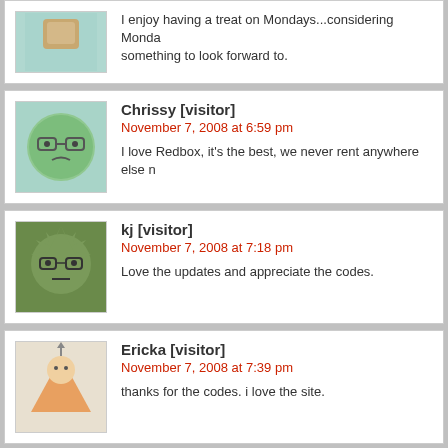I enjoy having a treat on Mondays...considering Mondays something to look forward to.
Chrissy [visitor]
November 7, 2008 at 6:59 pm
I love Redbox, it's the best, we never rent anywhere else n
kj [visitor]
November 7, 2008 at 7:18 pm
Love the updates and appreciate the codes.
Ericka [visitor]
November 7, 2008 at 7:39 pm
thanks for the codes. i love the site.
bjlaure
November 7, 2008 at 7:52 pm
I HAVE NOT USED ANY CODES YET, BUT MY FAMILT